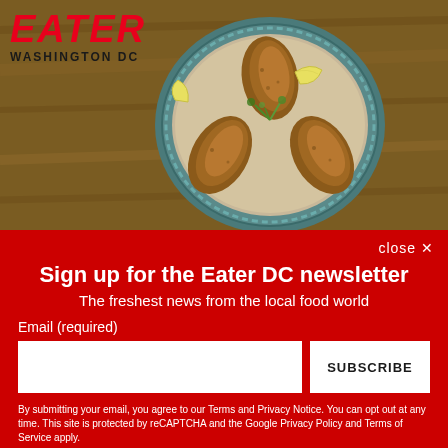[Figure (photo): Food photo showing three fried kibbeh (torpedo-shaped fried dumplings) on a decorative blue plate with dill garnish and lemon wedges, on a wooden table surface. Eater Washington DC logo overlaid top-left.]
Sign up for the Eater DC newsletter
The freshest news from the local food world
Email (required)
SUBSCRIBE
By submitting your email, you agree to our Terms and Privacy Notice. You can opt out at any time. This site is protected by reCAPTCHA and the Google Privacy Policy and Terms of Service apply.